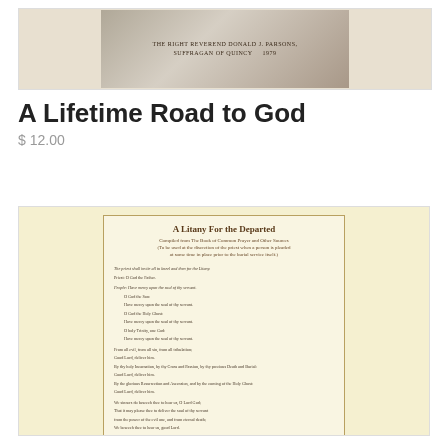[Figure (photo): Book cover of 'A Lifetime Road to God' showing a road/path image with text 'THE RIGHT REVEREND DONALD J. PARSONS, SUFFRAGAN OF QUINCY 1979']
A Lifetime Road to God
$ 12.00
[Figure (photo): Book cover of 'A Litany For the Departed' on yellow background with printed litany text]
A Litany for the Departed
$ 5.00